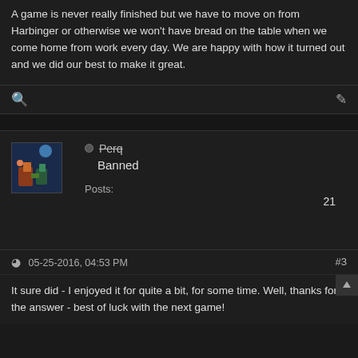A game is never really finished but we have to move on from Harbinger or otherwise we won't have bread on the table when we come home from work every day. We are happy with how it turned out and we did our best to make it great.
[Figure (screenshot): Toolbar row with search icon on left and edit/pencil icon on right]
[Figure (photo): User profile card for user 'Perq' with status Banned, avatar image showing game characters, Posts: 21]
05-25-2016, 04:53 PM  #3
It sure did - I enjoyed it for quite a bit, for some time. Well, thanks for the answer - best of luck with the next game!